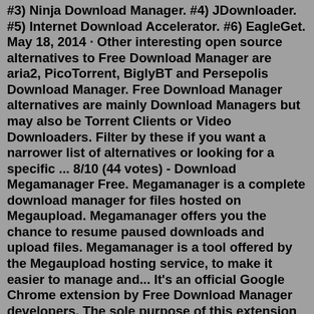#3) Ninja Download Manager. #4) JDownloader. #5) Internet Download Accelerator. #6) EagleGet. May 18, 2014 · Other interesting open source alternatives to Free Download Manager are aria2, PicoTorrent, BiglyBT and Persepolis Download Manager. Free Download Manager alternatives are mainly Download Managers but may also be Torrent Clients or Video Downloaders. Filter by these if you want a narrower list of alternatives or looking for a specific ... 8/10 (44 votes) - Download Megamanager Free. Megamanager is a complete download manager for files hosted on Megaupload. Megamanager offers you the chance to resume paused downloads and upload files. Megamanager is a tool offered by the Megaupload hosting service, to make it easier to manage and... It's an official Google Chrome extension by Free Download Manager developers. The sole purpose of this extension is integration with Free Download Manager. FDM is a fast and reliable download manager and accelerator that improves